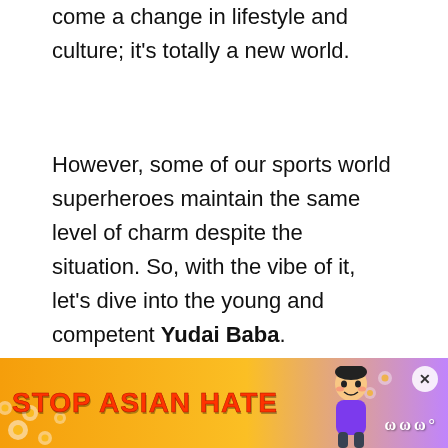come a change in lifestyle and culture; it's totally a new world.
However, some of our sports world superheroes maintain the same level of charm despite the situation. So, with the vibe of it, let's dive into the young and competent Yudai Baba.
Baba is a few years old professional in the league, and he is quite well at gaining the media's attention.
Initially, he commenced his gameplay through h[is] na[tionally. Basketball he was also gre]atly fe[atured …]
[Figure (infographic): Stop Asian Hate advertisement banner with orange/purple gradient background, floral decorations, animated character, and close button.]